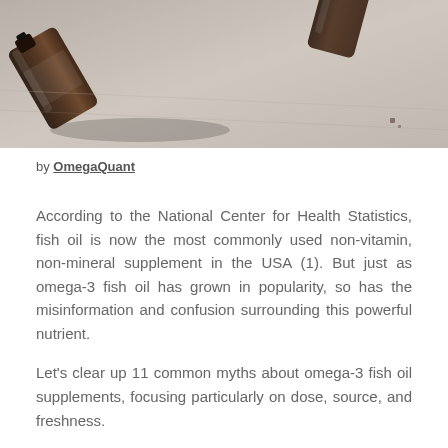[Figure (photo): Brown glass essential oil or supplement bottles lying on a light textured surface]
by OmegaQuant
According to the National Center for Health Statistics, fish oil is now the most commonly used non-vitamin, non-mineral supplement in the USA (1). But just as omega-3 fish oil has grown in popularity, so has the misinformation and confusion surrounding this powerful nutrient.
Let's clear up 11 common myths about omega-3 fish oil supplements, focusing particularly on dose, source, and freshness.